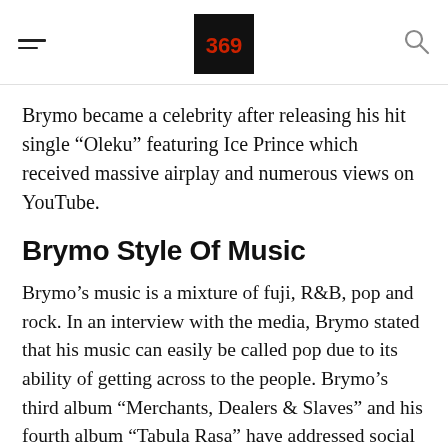[hamburger menu] [logo] [search icon]
Brymo became a celebrity after releasing his hit single “Oleku” featuring Ice Prince which received massive airplay and numerous views on YouTube.
Brymo Style Of Music
Brymo’s music is a mixture of fuji, R&B, pop and rock. In an interview with the media, Brymo stated that his music can easily be called pop due to its ability of getting across to the people. Brymo’s third album “Merchants, Dealers & Slaves” and his fourth album “Tabula Rasa” have addressed social injustice and chaos that are prevalent in Nigerian